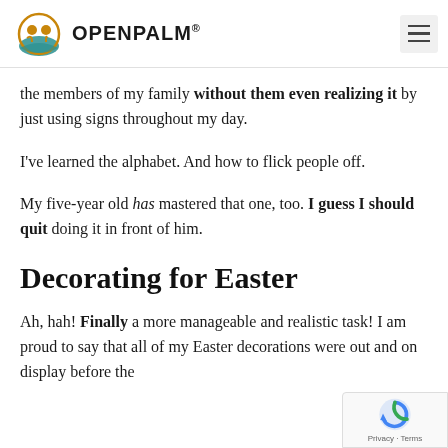OPENPALM®
the members of my family without them even realizing it by just using signs throughout my day.
I've learned the alphabet. And how to flick people off.
My five-year old has mastered that one, too. I guess I should quit doing it in front of him.
Decorating for Easter
Ah, hah! Finally a more manageable and realistic task! I am proud to say that all of my Easter decorations were out and on display before the